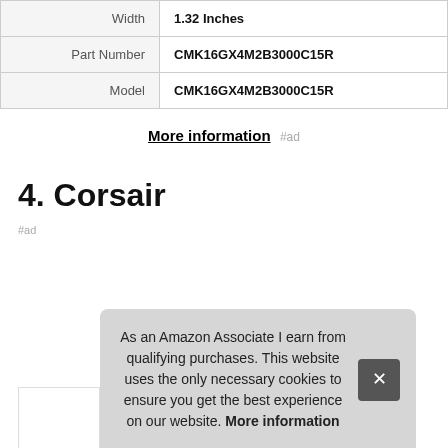| Width | 1.32 Inches |
| Part Number | CMK16GX4M2B3000C15R |
| Model | CMK16GX4M2B3000C15R |
More information #ad
4. Corsair
#ad
As an Amazon Associate I earn from qualifying purchases. This website uses the only necessary cookies to ensure you get the best experience on our website. More information